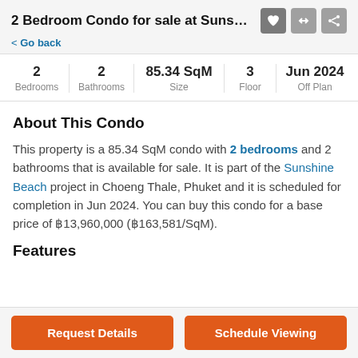2 Bedroom Condo for sale at Sunshine B...
< Go back
| Bedrooms | Bathrooms | Size | Floor | Off Plan |
| --- | --- | --- | --- | --- |
| 2 | 2 | 85.34 SqM | 3 | Jun 2024 |
About This Condo
This property is a 85.34 SqM condo with 2 bedrooms and 2 bathrooms that is available for sale. It is part of the Sunshine Beach project in Choeng Thale, Phuket and it is scheduled for completion in Jun 2024. You can buy this condo for a base price of ฿13,960,000 (฿163,581/SqM).
Features
Request Details
Schedule Viewing